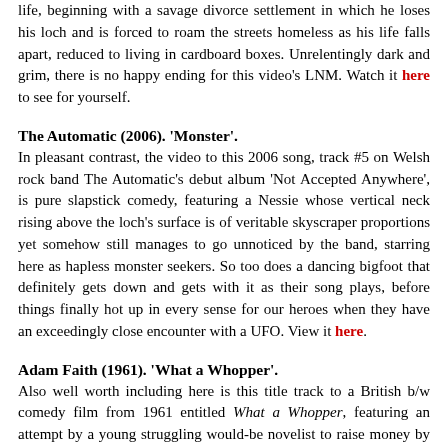life, beginning with a savage divorce settlement in which he loses his loch and is forced to roam the streets homeless as his life falls apart, reduced to living in cardboard boxes. Unrelentingly dark and grim, there is no happy ending for this video's LNM. Watch it here to see for yourself.
The Automatic (2006). 'Monster'.
In pleasant contrast, the video to this 2006 song, track #5 on Welsh rock band The Automatic's debut album 'Not Accepted Anywhere', is pure slapstick comedy, featuring a Nessie whose vertical neck rising above the loch's surface is of veritable skyscraper proportions yet somehow still manages to go unnoticed by the band, starring here as hapless monster seekers. So too does a dancing bigfoot that definitely gets down and gets with it as their song plays, before things finally hot up in every sense for our heroes when they have an exceedingly close encounter with a UFO. View it here.
Adam Faith (1961). 'What a Whopper'.
Also well worth including here is this title track to a British b/w comedy film from 1961 entitled What a Whopper, featuring an attempt by a young struggling would-be novelist to raise money by writing a book about the Loch Ness Monster and the attempt to...